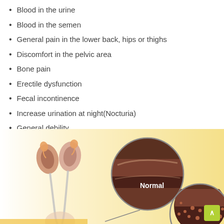Blood in the urine
Blood in the semen
General pain in the lower back, hips or thighs
Discomfort in the pelvic area
Bone pain
Erectile dysfunction
Fecal incontinence
Increase urination at night(Nocturia)
General debility
[Figure (illustration): Medical illustration showing kidneys and urinary tract anatomy with a circular zoom inset labeled 'Normal' showing a cross-section of normal tissue, set against a warm yellow gradient background]